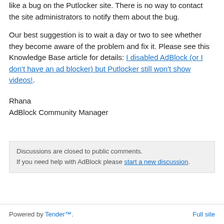like a bug on the Putlocker site. There is no way to contact the site administrators to notify them about the bug.
Our best suggestion is to wait a day or two to see whether they become aware of the problem and fix it. Please see this Knowledge Base article for details: I disabled AdBlock (or I don't have an ad blocker) but Putlocker still won't show videos!.
Rhana
AdBlock Community Manager
Discussions are closed to public comments.
If you need help with AdBlock please start a new discussion.
Powered by Tender™.   Full site